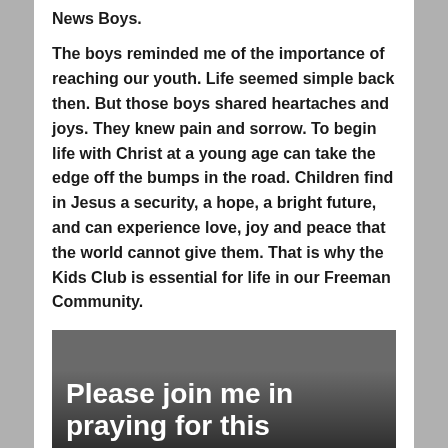News Boys.
The boys reminded me of the importance of reaching our youth. Life seemed simple back then. But those boys shared heartaches and joys. They knew pain and sorrow. To begin life with Christ at a young age can take the edge off the bumps in the road. Children find in Jesus a security, a hope, a bright future, and can experience love, joy and peace that the world cannot give them. That is why the Kids Club is essential for life in our Freeman Community.
[Figure (photo): Photo with overlaid bold white text reading 'Please join me in praying for this']